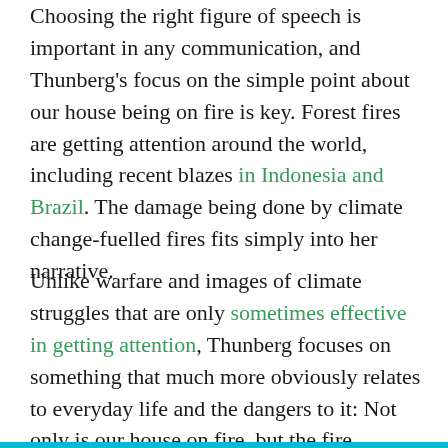Choosing the right figure of speech is important in any communication, and Thunberg's focus on the simple point about our house being on fire is key. Forest fires are getting attention around the world, including recent blazes in Indonesia and Brazil. The damage being done by climate change-fuelled fires fits simply into her narrative.
Unlike warfare and images of climate struggles that are only sometimes effective in getting attention, Thunberg focuses on something that much more obviously relates to everyday life and the dangers to it: Not only is our house on fire, but the fire department has vanished.